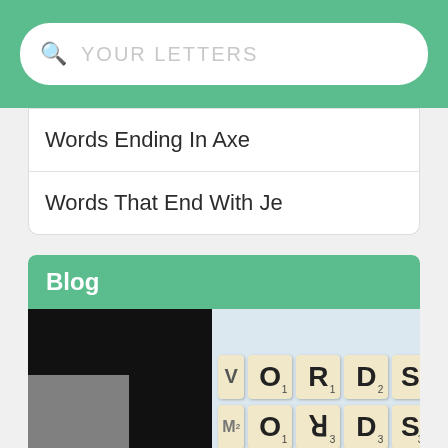YOUR LETTERS (search placeholder)
Words Ending In Axe
Words That End With Je
Blog
[Figure (photo): Blog thumbnail showing two images side by side: left side has black background with gray overlay and bold text 'WORD GAMES', right side shows Scrabble letter tiles spelling WORDS and ORDS arranged in two rows against a light blue background.]